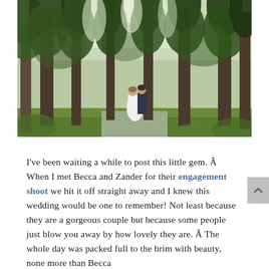[Figure (photo): Wedding couple standing in a forested park setting with tall evergreen trees. The bride is in a white dress and the groom in a dark suit, kissing or embracing in the center of a path. The scene is lush and green.]
I've been waiting a while to post this little gem. Â When I met Becca and Zander for their engagement shoot we hit it off straight away and I knew this wedding would be one to remember! Not least because they are a gorgeous couple but because some people just blow you away by how lovely they are. Â The whole day was packed full to the brim with beauty, none more than Becca